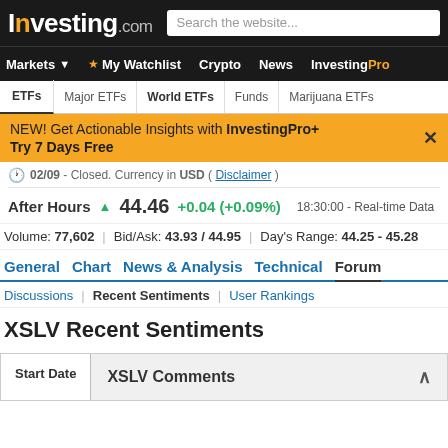Investing.com — Markets  My Watchlist  Crypto  News  InvestingPro
ETFs  Major ETFs  World ETFs  Funds  Marijuana ETFs
NEW! Get Actionable Insights with InvestingPro+  Try 7 Days Free
02/09 - Closed. Currency in USD ( Disclaimer )
After Hours ▲ 44.46 +0.04 (+0.09%)  18:30:00 - Real-time Data
Volume: 77,602  |  Bid/Ask: 43.93 / 44.95  |  Day's Range: 44.25 - 45.28
General  Chart  News & Analysis  Technical  Forum
Discussions  |  Recent Sentiments  |  User Rankings
XSLV Recent Sentiments
| Start Date | XSLV Comments |
| --- | --- |